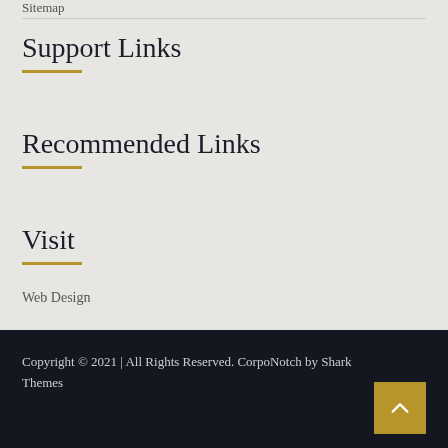Sitemap
Support Links
Recommended Links
Visit
Web Design
Copyright © 2021 | All Rights Reserved. CorpoNotch by Shark Themes